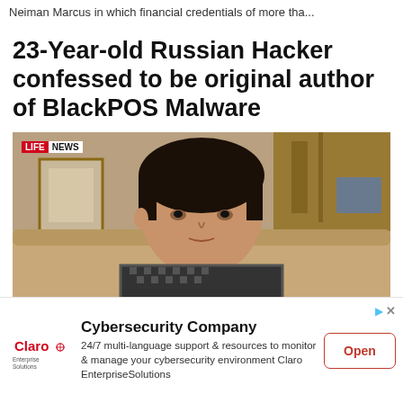Neiman Marcus in which financial credentials of more tha...
23-Year-old Russian Hacker confessed to be original author of BlackPOS Malware
[Figure (photo): Young man seated in a restaurant or cafe, shown from shoulders up, with dark hair, wearing a checkered jacket. A 'LIFE NEWS' badge is visible in the top-left corner of the video frame.]
Cybersecurity Company
24/7 multi-language support & resources to monitor & manage your cybersecurity environment Claro EnterpriseSolutions
[Figure (logo): Claro Enterprise Solutions logo in red]
Open